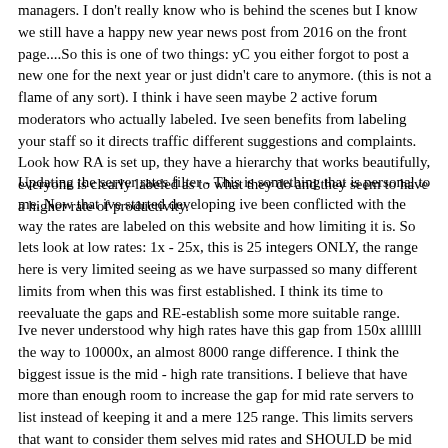managers. I don't really know who is behind the scenes but I know we still have a happy new year news post from 2016 on the front page....So this is one of two things: yC you either forgot to post a new one for the next year or just didn't care to anymore. (this is not a flame of any sort). I think i have seen maybe 2 active forum moderators who actually labeled. Ive seen benefits from labeling your staff so it directs traffic different suggestions and complaints. Look how RA is set up, they have a hierarchy that works beautifully, everyone is clearly labeled as to what they do and they seem to have a higher rate of productivity.
Updating the server rates filter - This is something that is personal to me. Now that ive started developing ive been conflicted with the way the rates are labeled on this website and how limiting it is. So lets look at low rates: 1x - 25x, this is 25 integers ONLY, the range here is very limited seeing as we have surpassed so many different limits from when this was first established. I think its time to reevaluate the gaps and RE-establish some more suitable range.
Ive never understood why high rates have this gap from 150x allllll the way to 10000x, an almost 8000 range difference. I think the biggest issue is the mid - high rate transitions. I believe that have more than enough room to increase the gap for mid rate servers to list instead of keeping it and a mere 125 range. This limits servers that want to consider them selves mid rates and SHOULD be mid rates for hosting like 500x. I feel for that above that would be...